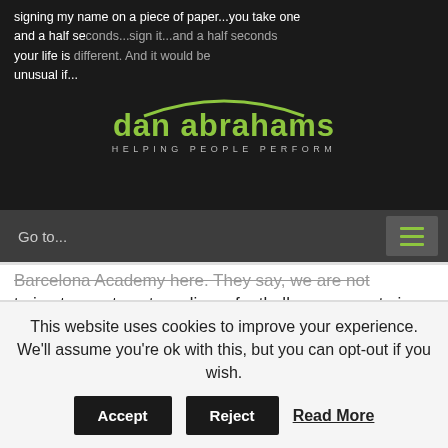signing my name on a piece of paper...you take one and a half seconds...sign it...and a half seconds your life is different. And it would be unusual if...
[Figure (logo): Dan Abrahams logo with green arc above text reading 'dan abrahams' in green and 'HELPING PEOPLE PERFORM' in small caps gray text]
Go to...
Barcelona Academy here. They say, we are not trying to create extraordinary footballers, we are trying to create extraordinary individuals. If they become extraordinary footballers as a consequence then absolutely fantastic. But those young players coming through up to the age of 18, they go to school until 5pm, they then go and train. They are at the La Masia site. They stay there. Their
This website uses cookies to improve your experience. We'll assume you're ok with this, but you can opt-out if you wish.
Accept  Reject  Read More